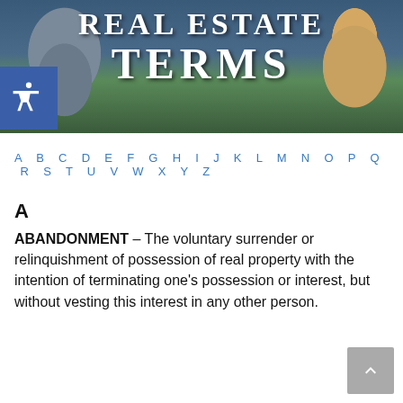[Figure (photo): Header image of a residential house with green landscaping, with overlaid title text 'REAL ESTATE TERMS']
REAL ESTATE TERMS
A B C D E F G H I J K L M N O P Q R S T U V W X Y Z
A
ABANDONMENT – The voluntary surrender or relinquishment of possession of real property with the intention of terminating one's possession or interest, but without vesting this interest in any other person.